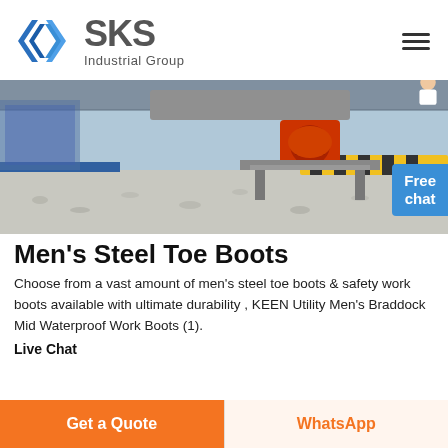[Figure (logo): SKS Industrial Group logo with blue diamond/arrow icon and grey text]
[Figure (photo): Industrial facility interior showing machinery on gravel floor with yellow/black safety barriers, with a 'Free chat' button overlay and customer service avatar]
Men's Steel Toe Boots
Choose from a vast amount of men's steel toe boots & safety work boots available with ultimate durability , KEEN Utility Men's Braddock Mid Waterproof Work Boots (1).
Live Chat
Get a Quote
WhatsApp